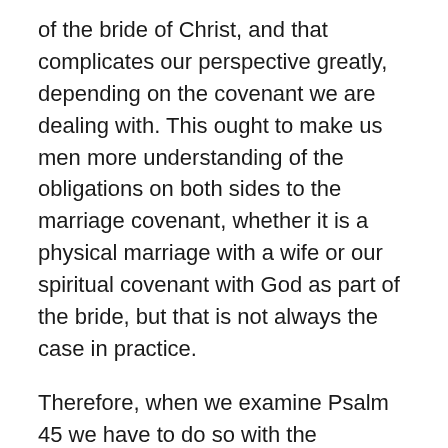of the bride of Christ, and that complicates our perspective greatly, depending on the covenant we are dealing with. This ought to make us men more understanding of the obligations on both sides to the marriage covenant, whether it is a physical marriage with a wife or our spiritual covenant with God as part of the bride, but that is not always the case in practice.
Therefore, when we examine Psalm 45 we have to do so with the understanding that the psalm exists on both levels simultaneously. The author of this psalm among the sons of Korah, whomever he was, wrote in such a way that the hymn has a dual application to the physical weddings of Jewish kings with godly foreign brides, as well as referring to the bride of Christ as forsaking the cultures and family identities of earth to glory in citizenship in the New Jerusalem and membership in the family of God, by...